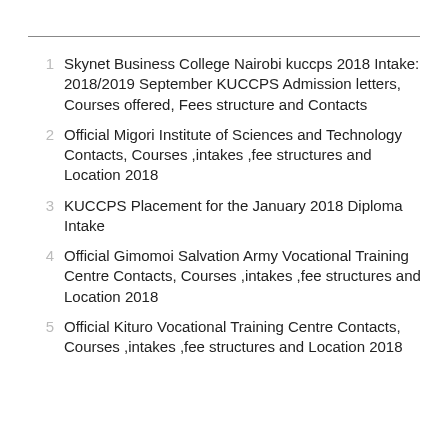Skynet Business College Nairobi kuccps 2018 Intake: 2018/2019 September KUCCPS Admission letters,  Courses offered, Fees structure and Contacts
Official Migori Institute of Sciences and Technology Contacts, Courses ,intakes ,fee structures and Location 2018
KUCCPS Placement for the January 2018 Diploma Intake
Official Gimomoi Salvation Army Vocational Training Centre Contacts, Courses ,intakes ,fee structures and Location 2018
Official Kituro Vocational Training Centre Contacts, Courses ,intakes ,fee structures and Location 2018